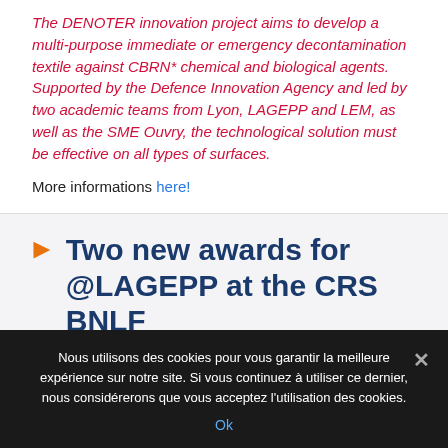The DENOTER innovation project aims to develop a multi-purpose immediate or emergency decontamination textile against CBRN* chemical and biological agents. Supported by the Defence Innovation Agency and led by two academic teams from Lyon, LAGEPP and LEM, as well as the SME Ouvry, the technological solution must be effective on all types of surfaces.
More informations here!
Two new awards for @LAGEPP at the CRS BNLF
Nous utilisons des cookies pour vous garantir la meilleure expérience sur notre site. Si vous continuez à utiliser ce dernier, nous considérerons que vous acceptez l'utilisation des cookies.
Ok